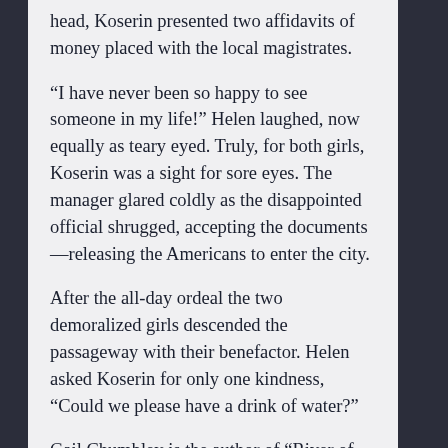head, Koserin presented two affidavits of money placed with the local magistrates.
“I have never been so happy to see someone in my life!” Helen laughed, now equally as teary eyed. Truly, for both girls, Koserin was a sight for sore eyes. The manager glared coldly as the disappointed official shrugged, accepting the documents—releasing the Americans to enter the city.
After the all-day ordeal the two demoralized girls descended the passageway with their benefactor. Helen asked Koserin for only one kindness, “Could we please have a drink of water?”
Gail Chumbley is the author of “River of January,” and “River of January: Figure